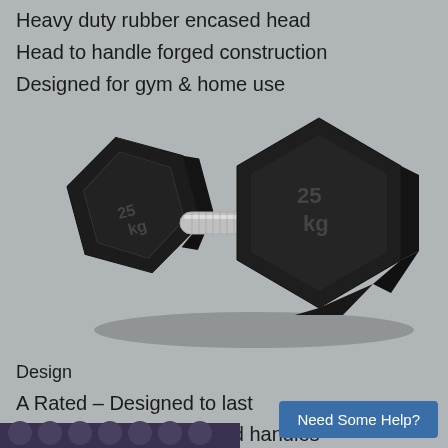Heavy duty rubber encased head
Head to handle forged construction
Designed for gym & home use
[Figure (photo): A black rubber hex dumbbell with chrome handle, shown at an angle with two hexagonal heads visible.]
Design
A Rated – Designed to last
Ergonomic chrome plated handles
Rubber head embossed – in kg's
[Figure (photo): Partial view of a row of purple/dark hex dumbbells at the bottom of the page.]